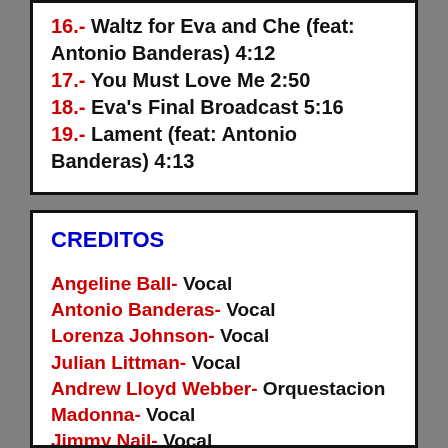16.- Waltz for Eva and Che (feat: Antonio Banderas) 4:12
17.- You Must Love Me 2:50
18.- Eva's Final Broadcast 5:16
19.- Lament (feat: Antonio Banderas) 4:13
CREDITOS
Angeline Ball- Vocal
Antonio Banderas- Vocal
Lorenza Johnson- Vocal
Julian Littman- Vocal
Andrew Lloyd Webber- Orquestacion
Madonna- Vocal
Jimmy Nail- Vocal
Gordon Neville- Vocal
Laura Pallas- Vocal
Jonathan Pryce- Vocal
Mark Ryan- Vocal